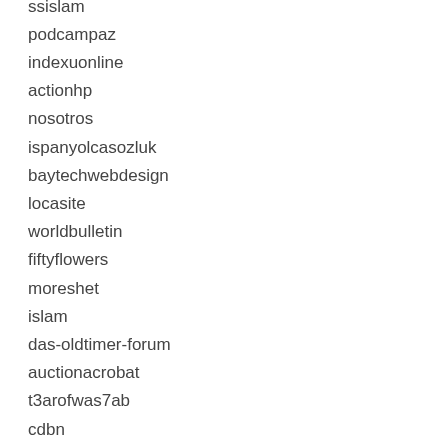ssislam
podcampaz
indexuonline
actionhp
nosotros
ispanyolcasozluk
baytechwebdesign
locasite
worldbulletin
fiftyflowers
moreshet
islam
das-oldtimer-forum
auctionacrobat
t3arofwas7ab
cdbn
j-banana
lyricsocean
4007740077